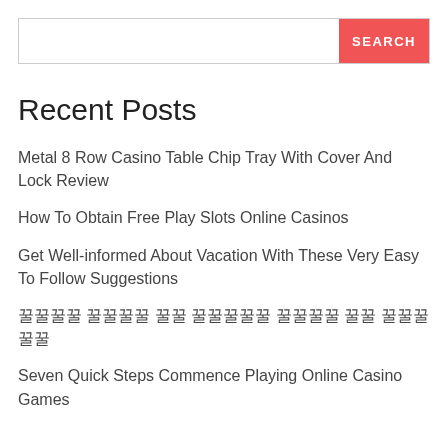[Figure (other): Search bar with text input and red SEARCH button]
Recent Posts
Metal 8 Row Casino Table Chip Tray With Cover And Lock Review
How To Obtain Free Play Slots Online Casinos
Get Well-informed About Vacation With These Very Easy To Follow Suggestions
꿀꿀꿀꿀 꿀꿀꿀꿀 꿀꿀 꿀꿀꿀꿀꿀 꿀꿀꿀꿀 꿀꿀 꿀꿀꿀 꿀꿀
Seven Quick Steps Commence Playing Online Casino Games